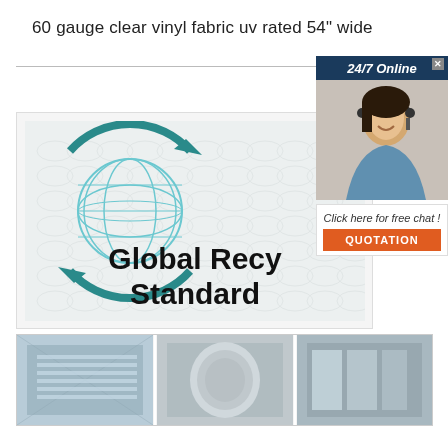60 gauge clear vinyl fabric uv rated 54" wide
[Figure (logo): Global Recycle Standard logo with teal recycling arrows around a globe, text reading 'Global Recy... Standard' in black bold font, on a light patterned background]
[Figure (photo): Advertisement overlay showing '24/7 Online' header, a woman with headset smiling, text 'Click here for free chat!' and an orange 'QUOTATION' button]
[Figure (photo): Bottom strip showing product images of vinyl fabric material]